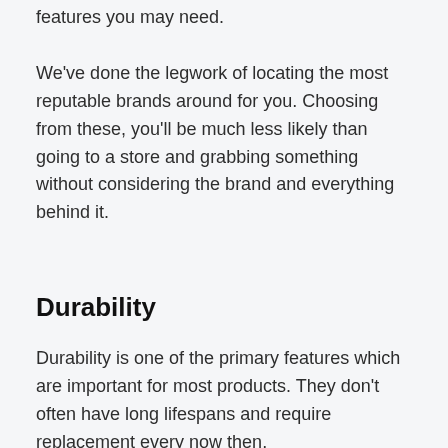features you may need.
We've done the legwork of locating the most reputable brands around for you. Choosing from these, you'll be much less likely than going to a store and grabbing something without considering the brand and everything behind it.
Durability
Durability is one of the primary features which are important for most products. They don't often have long lifespans and require replacement every now then.
Before you buy any product from the store, make sure you know about the material well. Sometimes